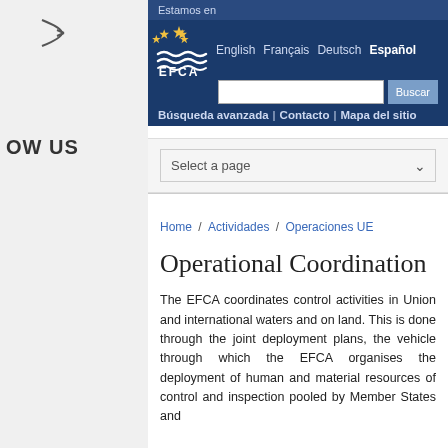Estamos en
English  Français  Deutsch  Español
Búsqueda avanzada | Contacto | Mapa del sitio
Select a page
Home / Actividades / Operaciones UE
Operational Coordination
The EFCA coordinates control activities in Union and international waters and on land. This is done through the joint deployment plans, the vehicle through which the EFCA organises the deployment of human and material resources of control and inspection pooled by Member States and